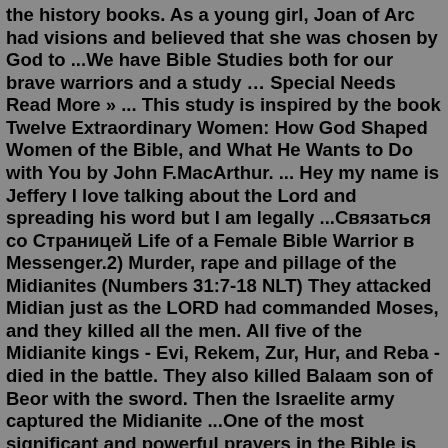the history books. As a young girl, Joan of Arc had visions and believed that she was chosen by God to ...We have Bible Studies both for our brave warriors and a study … Special Needs Read More » ... This study is inspired by the book Twelve Extraordinary Women: How God Shaped Women of the Bible, and What He Wants to Do with You by John F.MacArthur. ... Hey my name is Jeffery I love talking about the Lord and spreading his word but I am legally ...Связаться со Страницей Life of a Female Bible Warrior в Messenger.2) Murder, rape and pillage of the Midianites (Numbers 31:7-18 NLT) They attacked Midian just as the LORD had commanded Moses, and they killed all the men. All five of the Midianite kings - Evi, Rekem, Zur, Hur, and Reba - died in the battle. They also killed Balaam son of Beor with the sword. Then the Israelite army captured the Midianite ...One of the most significant and powerful prayers in the Bible is Jabez's prayer for strength and protection in the book of Chronicles. From 1 Chronicles 4: 2-21, Jabez was mentioned as